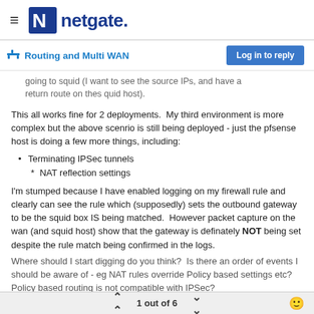netgate.
Routing and Multi WAN
going to squid (I want to see the source IPs, and have a return route on thes quid host).
This all works fine for 2 deployments.  My third environment is more complex but the above scenrio is still being deployed - just the pfsense host is doing a few more things, including:
Terminating IPSec tunnels
NAT reflection settings
I'm stumped because I have enabled logging on my firewall rule and clearly can see the rule which (supposedly) sets the outbound gateway to be the squid box IS being matched.  However packet capture on the wan (and squid host) show that the gateway is definately NOT being set despite the rule match being confirmed in the logs.
Where should I start digging do you think?  Is there an order of events I should be aware of - eg NAT rules override Policy based settings etc?  Policy based routing is not compatible with IPSec?
1 out of 6